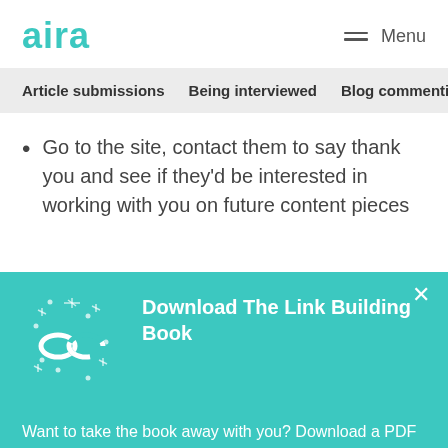aira
Menu
Article submissions   Being interviewed   Blog commentin
Go to the site, contact them to say thank you and see if they'd be interested in working with you on future content pieces
Download The Link Building Book
Want to take the book away with you? Download a PDF copy of The Link Building Book.
Download